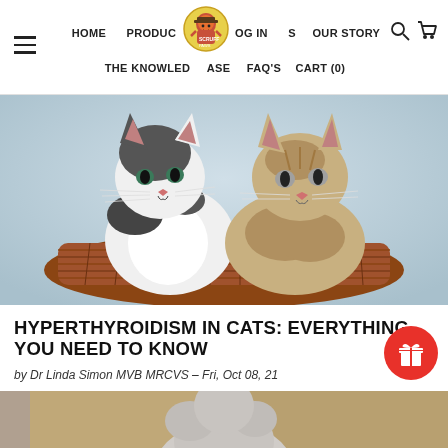HOME  PRODUCTS  OUR STORY  LOG IN  CART (0)  THE KNOWLEDGEBASE  FAQ'S
[Figure (photo): Two kittens sitting together in a woven wicker basket against a light blue background]
HYPERTHYROIDISM IN CATS: EVERYTHING YOU NEED TO KNOW
by Dr Linda Simon MVB MRCVS - Fri, Oct 08, 21
[Figure (photo): Partial view of a cat, bottom portion of article hero image]